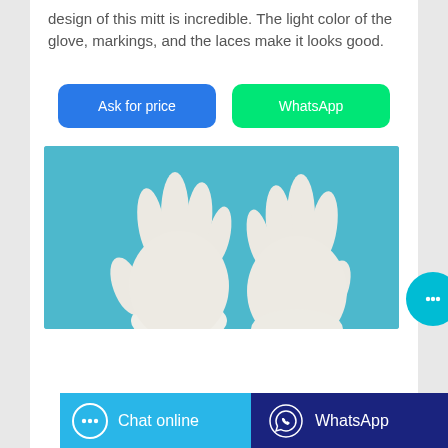design of this mitt is incredible. The light color of the glove, markings, and the laces make it looks good.
[Figure (other): Two white cotton gloves displayed on a teal/blue background, showing the palm and back sides of the gloves.]
Chat online  |  WhatsApp